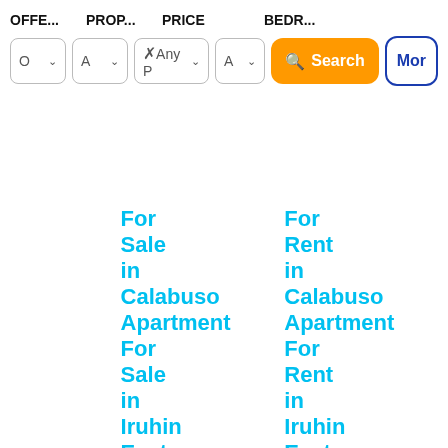OFFE... PROP... PRICE BEDR...
For Sale in Calabuso Apartment For Sale in Iruhin East Apartment For Sale in San
For Rent in Calabuso Apartment For Rent in Iruhin East Apartment For Rent in San